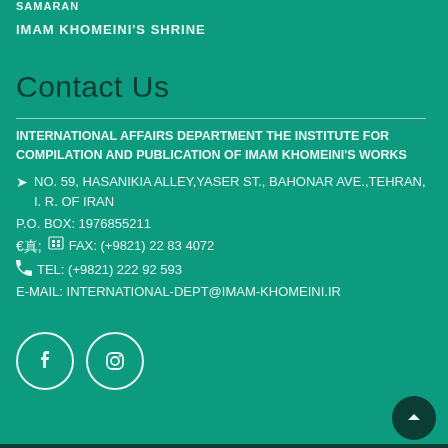SAMARAN
IMAM KHOMEINI'S SHRINE
Contact Us
INTERNATIONAL AFFAIRS DEPARTMENT THE INSTITUTE FOR COMPILATION AND PUBLICATION OF IMAM KHOMEINI'S WORKS
NO. 59, HASANIKIA ALLEY,YASER ST., BAHONAR AVE.,TEHRAN, I. R. OF IRAN
P.O. BOX: 1976855211
FAX: (+9821) 22 83 4072
TEL: (+9821) 222 92 593
E-MAIL: INTERNATIONAL-DEPT@IMAM-KHOMEINI.IR
[Figure (illustration): Facebook and Instagram social media icons as white outlines on teal circular buttons]